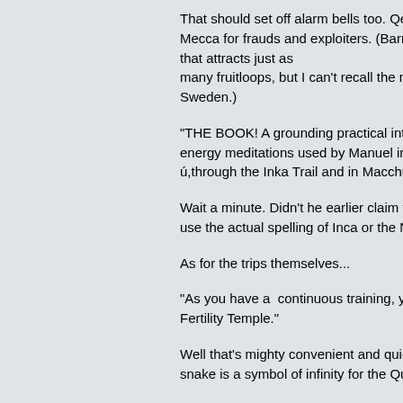That should set off alarm bells too. Qero is a Mecca for frauds and exploiters. (Barnaby that attracts just as many fruitloops, but I can't recall the name. Sweden.)
"THE BOOK! A grounding practical introduction energy meditations used by Manuel in his ú,through the Inka Trail and in Macchu Pi
Wait a minute. Didn't he earlier claim to be use the actual spelling of Inca or the Nuag
As for the trips themselves...
"As you have a  continuous training, you v Fertility Temple."
Well that's mighty convenient and quick. N snake is a symbol of infinity for the Quech
"Manuel will guide you into a unique expe
Once again, pretty amusing. Kind of like n of Germans, French, and Italians. Many P